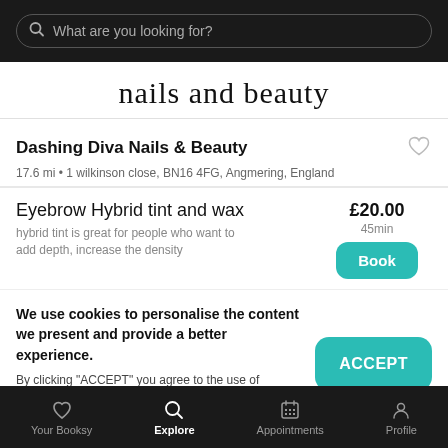[Figure (screenshot): Search bar with placeholder text 'What are you looking for?' on dark background]
[Figure (logo): Cursive handwritten logo text: nails and beauty]
Dashing Diva Nails & Beauty
17.6 mi • 1 wilkinson close, BN16 4FG, Angmering, England
Eyebrow Hybrid tint and wax
hybrid tint is great for people who want to add depth, increase the density
£20.00
45min
We use cookies to personalise the content we present and provide a better experience.
By clicking "ACCEPT" you agree to the use of cookies. You can find more information about how we use cookies here.
Your Booksy  Explore  Appointments  Profile